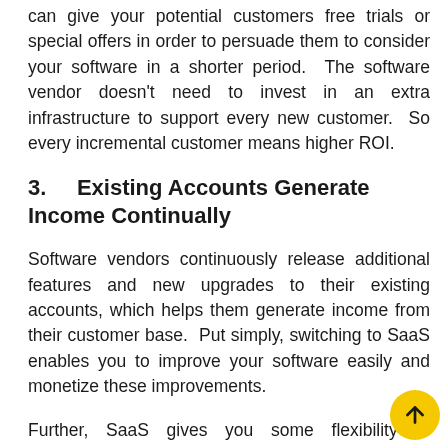can give your potential customers free trials or special offers in order to persuade them to consider your software in a shorter period.  The software vendor doesn't need to invest in an extra infrastructure to support every new customer.  So every incremental customer means higher ROI.
3.    Existing Accounts Generate Income Continually
Software vendors continuously release additional features and new upgrades to their existing accounts, which helps them generate income from their customer base.  Put simply, switching to SaaS enables you to improve your software easily and monetize these improvements.
Further, SaaS gives you some flexibility to accompany your customers as they grow, which translates to higher income because their account grows with them.  You can spot potential dissatisfactions faster when delivering SaaS th on-premise software.  This affords you an opportunity to